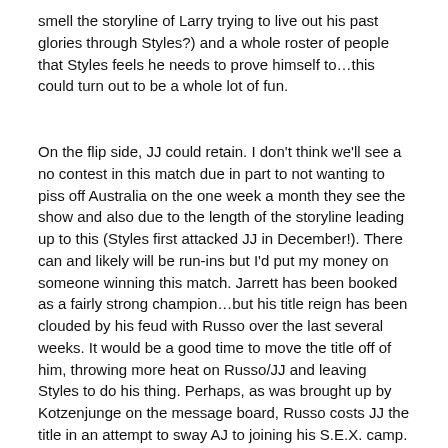smell the storyline of Larry trying to live out his past glories through Styles?) and a whole roster of people that Styles feels he needs to prove himself to…this could turn out to be a whole lot of fun.
On the flip side, JJ could retain. I don't think we'll see a no contest in this match due in part to not wanting to piss off Australia on the one week a month they see the show and also due to the length of the storyline leading up to this (Styles first attacked JJ in December!). There can and likely will be run-ins but I'd put my money on someone winning this match. Jarrett has been booked as a fairly strong champion…but his title reign has been clouded by his feud with Russo over the last several weeks. It would be a good time to move the title off of him, throwing more heat on Russo/JJ and leaving Styles to do his thing. Perhaps, as was brought up by Kotzenjunge on the message board, Russo costs JJ the title in an attempt to sway AJ to joining his S.E.X. camp. That would certainly make sense storyline wise.
Now that we've taken care of that, let's move on to: